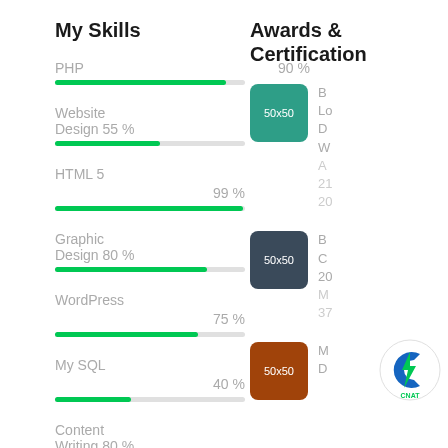My Skills
PHP  90 %
Website Design  55 %
HTML 5  99 %
Graphic Design  80 %
WordPress  75 %
My SQL  40 %
Content Writing  80 %
CSS  80 %
Awards & Certification
50x50 Bo Lo D W A 21 20
50x50 Bo C 20 M 37
50x50 M D
[Figure (logo): CNAT circular logo with blue C shape and green lightning bolt]